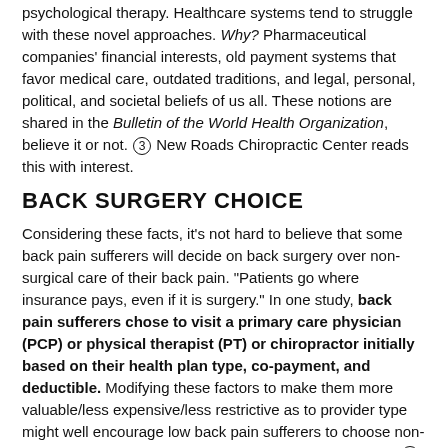psychological therapy. Healthcare systems tend to struggle with these novel approaches. Why? Pharmaceutical companies' financial interests, old payment systems that favor medical care, outdated traditions, and legal, personal, political, and societal beliefs of us all. These notions are shared in the Bulletin of the World Health Organization, believe it or not. (3) New Roads Chiropractic Center reads this with interest.
BACK SURGERY CHOICE
Considering these facts, it's not hard to believe that some back pain sufferers will decide on back surgery over non-surgical care of their back pain. "Patients go where insurance pays, even if it is surgery." In one study, back pain sufferers chose to visit a primary care physician (PCP) or physical therapist (PT) or chiropractor initially based on their health plan type, co-payment, and deductible. Modifying these factors to make them more valuable/less expensive/less restrictive as to provider type might well encourage low back pain sufferers to choose non-hospital, conservative treatment instead of back surgery. (4) New Roads Chiropractic Center is all for this! Less than 1% of back pain sufferers must have back surgery. (5)